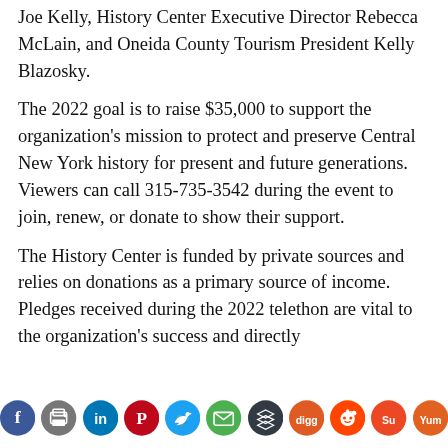Joe Kelly, History Center Executive Director Rebecca McLain, and Oneida County Tourism President Kelly Blazosky.
The 2022 goal is to raise $35,000 to support the organization's mission to protect and preserve Central New York history for present and future generations. Viewers can call 315-735-3542 during the event to join, renew, or donate to show their support.
The History Center is funded by private sources and relies on donations as a primary source of income. Pledges received during the 2022 telethon are vital to the organization's success and directly
[Figure (infographic): Social media sharing icons row: Facebook, Print, LinkedIn, Pinterest, Twitter, Email, Buffer, Digg, Reddit, StumbleUpon, Yummly]